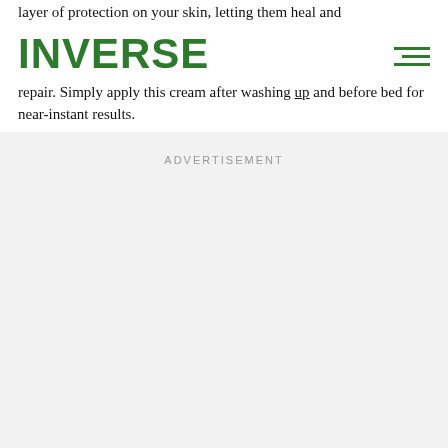layer of protection on your skin, letting them heal and
INVERSE
repair. Simply apply this cream after washing up and before bed for near-instant results.
ADVERTISEMENT